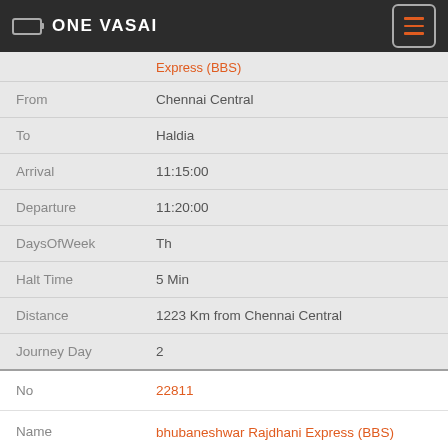ONE VASAI
Express (BBS)
| Field | Value |
| --- | --- |
| From | Chennai Central |
| To | Haldia |
| Arrival | 11:15:00 |
| Departure | 11:20:00 |
| DaysOfWeek | Th |
| Halt Time | 5 Min |
| Distance | 1223 Km from Chennai Central |
| Journey Day | 2 |
| No | 22811 |
| Name | bhubaneshwar Rajdhani Express (BBS) |
| From | Bhubaneshwar |